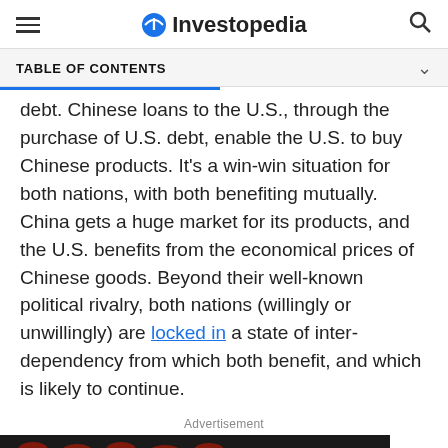Investopedia
TABLE OF CONTENTS
debt. Chinese loans to the U.S., through the purchase of U.S. debt, enable the U.S. to buy Chinese products. It's a win-win situation for both nations, with both benefiting mutually. China gets a huge market for its products, and the U.S. benefits from the economical prices of Chinese goods. Beyond their well-known political rivalry, both nations (willingly or unwillingly) are locked in a state of inter-dependency from which both benefit, and which is likely to continue.
Advertisement
[Figure (other): Dotdash Meredith advertisement banner: dark background with red arc shapes at top, text 'We help people find answers, solve problems and get inspired.' with Dotdash Meredith logo]